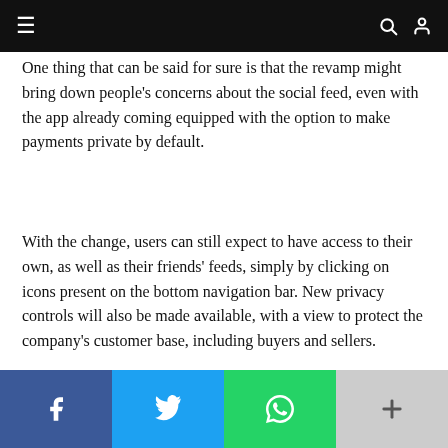Navigation bar with hamburger menu, search, and user icons
One thing that can be said for sure is that the revamp might bring down people's concerns about the social feed, even with the app already coming equipped with the option to make payments private by default.
With the change, users can still expect to have access to their own, as well as their friends' feeds, simply by clicking on icons present on the bottom navigation bar. New privacy controls will also be made available, with a view to protect the company's customer base, including buyers and sellers.
Social share bar: Facebook, Twitter, WhatsApp, More